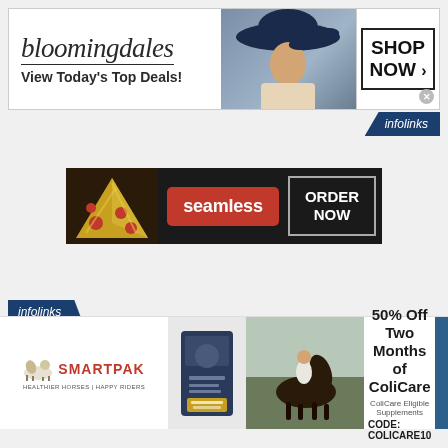[Figure (infographic): Bloomingdales banner ad with logo, 'View Today's Top Deals!', woman in hat, and SHOP NOW button]
[Figure (infographic): Infolinks label top right]
[Figure (infographic): Seamless food delivery ad with pizza image, seamless red logo, and ORDER NOW box]
[Figure (infographic): Infolinks label bottom left]
[Figure (infographic): SmartPak ad: logo, product image, horse/rider photo, 50% Off Two Months of ColiCare offer, CODE: COLICARE10, Shop Now button]